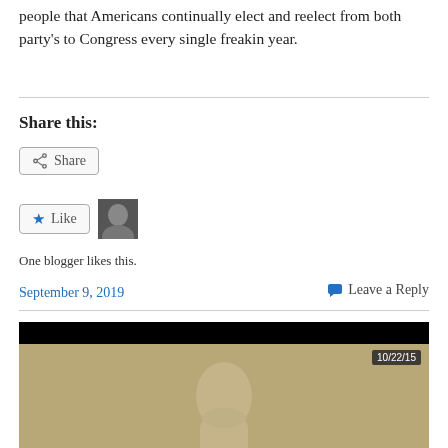people that Americans continually elect and reelect from both party's to Congress every single freakin year.
Share this:
[Figure (screenshot): Share button with share icon]
[Figure (screenshot): Like button with star icon and user avatar thumbnail]
One blogger likes this.
September 9, 2019
Leave a Reply
[Figure (photo): Video screenshot showing person from neck up against tan background with timestamp 10/22/15, black bar at top]